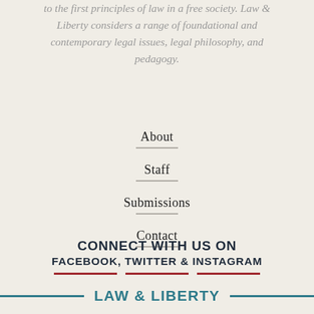to the first principles of law in a free society. Law & Liberty considers a range of foundational and contemporary legal issues, legal philosophy, and pedagogy.
About
Staff
Submissions
Contact
CONNECT WITH US ON FACEBOOK, TWITTER & INSTAGRAM
LAW & LIBERTY